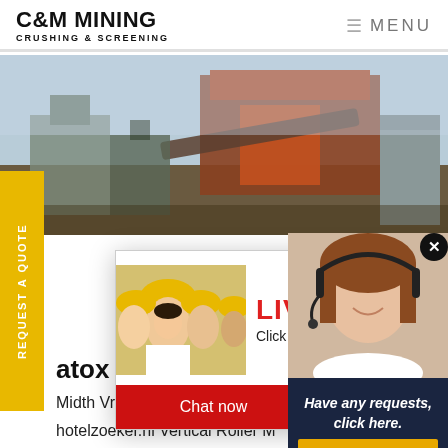C&M MINING CRUSHING & SCREENING | MENU
[Figure (photo): Industrial mining crushing and screening machinery outdoors, large red mechanical equipment visible]
[Figure (screenshot): Live Chat popup overlay showing workers in hard hats, 'LIVE CHAT' in red, 'Click for a Free Consultation', Chat now and Chat later buttons]
[Figure (photo): Right side widget showing woman with headset on dark blue background with 'Have any requests, click here.' text and Quotation button]
REQUEST A QUOTE
atox 42.5 vrm raw mill prin
Midth Vrm Cement Mill. fls ato
hotelzoeker.nl Vertical Roller M
Trouble Shooting atox raw mill 42.
working principle in en atox raw,fls
media. Cement mill plant...